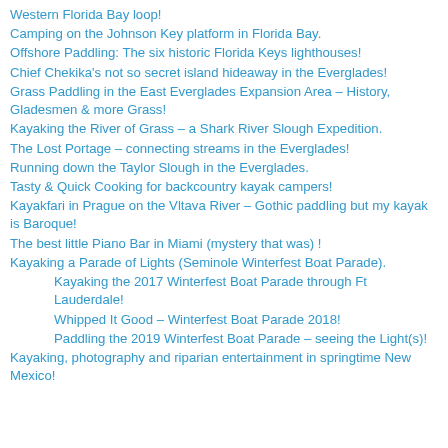Western Florida Bay loop!
Camping on the Johnson Key platform in Florida Bay.
Offshore Paddling: The six historic Florida Keys lighthouses!
Chief Chekika's not so secret island hideaway in the Everglades!
Grass Paddling in the East Everglades Expansion Area – History, Gladesmen & more Grass!
Kayaking the River of Grass – a Shark River Slough Expedition.
The Lost Portage – connecting streams in the Everglades!
Running down the Taylor Slough in the Everglades.
Tasty & Quick Cooking for backcountry kayak campers!
Kayakfari in Prague on the Vltava River – Gothic paddling but my kayak is Baroque!
The best little Piano Bar in Miami (mystery that was) !
Kayaking a Parade of Lights (Seminole Winterfest Boat Parade).
Kayaking the 2017 Winterfest Boat Parade through Ft Lauderdale!
Whipped It Good – Winterfest Boat Parade 2018!
Paddling the 2019 Winterfest Boat Parade – seeing the Light(s)!
Kayaking, photography and riparian entertainment in springtime New Mexico!